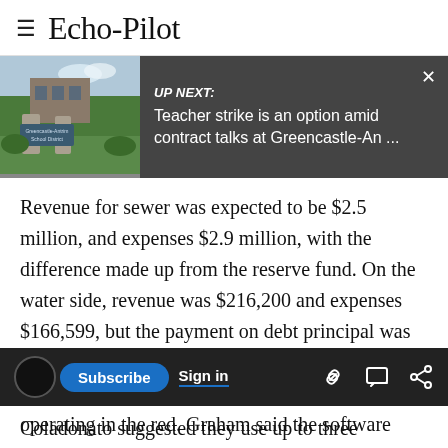≡ Echo-Pilot
[Figure (screenshot): UP NEXT banner with thumbnail photo of a school sign and text: 'UP NEXT: Teacher strike is an option amid contract talks at Greencastle-An ...' with an X close button]
Revenue for sewer was expected to be $2.5 million, and expenses $2.9 million, with the difference made up from the reserve fund. On the water side, revenue was $216,200 and expenses $166,599, but the payment on debt principal was not included in the chart. Schemmerling asked for the numbers to determine if they would be operating in the red. Graham said the software system hadn't allowed the input. ATMA will call a
Coladonato suggested they use up to three